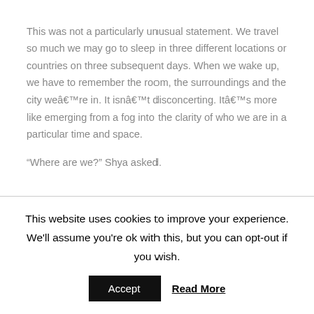This was not a particularly unusual statement. We travel so much we may go to sleep in three different locations or countries on three subsequent days. When we wake up, we have to remember the room, the surroundings and the city weâre in. It isnât disconcerting. Itâs more like emerging from a fog into the clarity of who we are in a particular time and space.
âWhere are we?â Shya asked.
This website uses cookies to improve your experience. We'll assume you're ok with this, but you can opt-out if you wish.